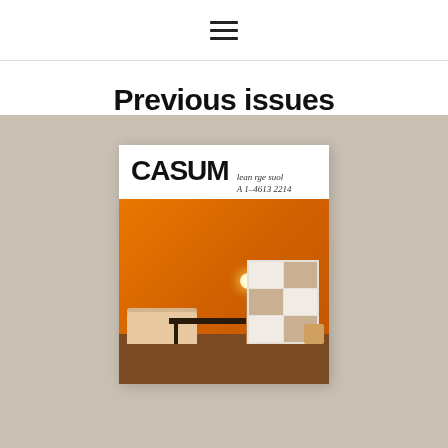≡
Previous issues
[Figure (photo): Magazine cover for CASUM on a beige/taupe background. The cover shows a modern interior room with orange walls, a sofa, table, cabinet shelving unit, and lamp. The magazine title 'CASUM' is displayed in bold black letters with a script subtitle.]